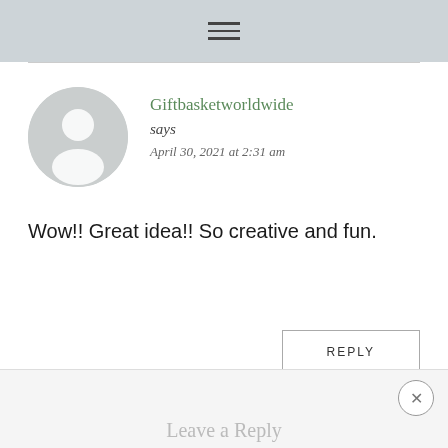≡
Giftbasketworldwide says
April 30, 2021 at 2:31 am
Wow!! Great idea!! So creative and fun.
REPLY
Leave a Reply